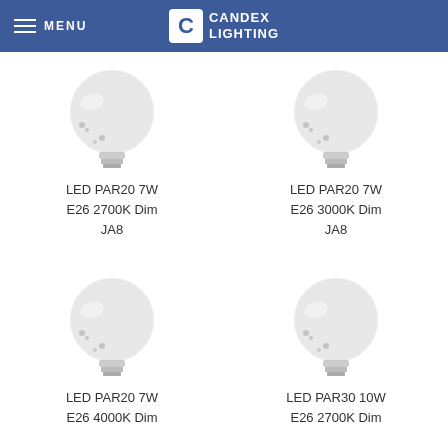MENU | CANDEX LIGHTING
[Figure (photo): LED PAR20 light bulb product image]
LED PAR20 7W E26 2700K Dim JA8
[Figure (photo): LED PAR20 light bulb product image]
LED PAR20 7W E26 3000K Dim JA8
[Figure (photo): LED PAR20 light bulb product image]
LED PAR20 7W E26 4000K Dim
[Figure (photo): LED PAR30 light bulb product image]
LED PAR30 10W E26 2700K Dim